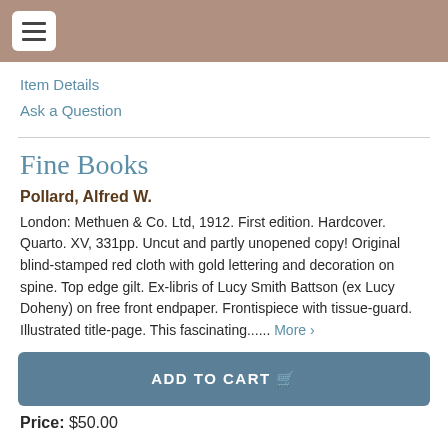≡
Item Details
Ask a Question
Fine Books
Pollard, Alfred W.
London: Methuen & Co. Ltd, 1912. First edition. Hardcover. Quarto. XV, 331pp. Uncut and partly unopened copy! Original blind-stamped red cloth with gold lettering and decoration on spine. Top edge gilt. Ex-libris of Lucy Smith Battson (ex Lucy Doheny) on free front endpaper. Frontispiece with tissue-guard. Illustrated title-page. This fascinating...... More ›
ADD TO CART 🛒
Price: $50.00